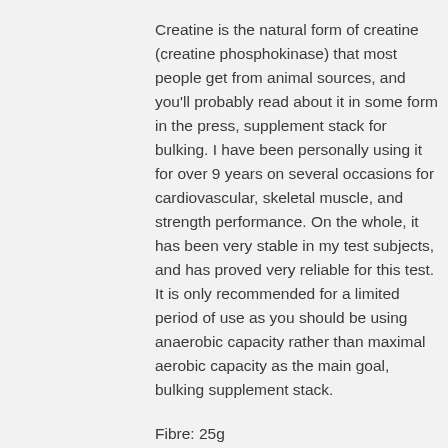Creatine is the natural form of creatine (creatine phosphokinase) that most people get from animal sources, and you'll probably read about it in some form in the press, supplement stack for bulking. I have been personally using it for over 9 years on several occasions for cardiovascular, skeletal muscle, and strength performance. On the whole, it has been very stable in my test subjects, and has proved very reliable for this test. It is only recommended for a limited period of use as you should be using anaerobic capacity rather than maximal aerobic capacity as the main goal, bulking supplement stack.
Fibre: 25g
Fibre is essentially a mixture of carbohydrates. That means all the simple sugars that don't consist solely of glucose.